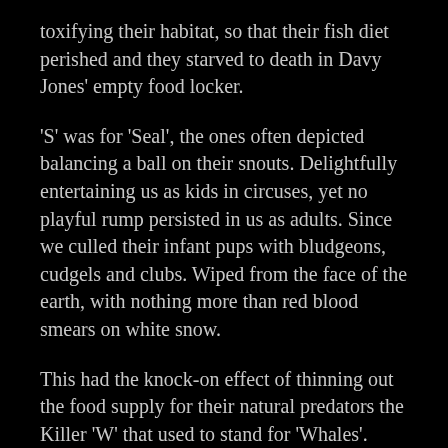toxifying their habitat, so that their fish diet perished and they starved to death in Davy Jones' empty food locker.
'S' was for 'Seal', the ones often depicted balancing a ball on their snouts. Delightfully entertaining us as kids in circuses, yet no playful rump persisted in us as adults. Since we culled their infant pups with bludgeons, cudgels and clubs. Wiped from the face of the earth, with nothing more than red blood smears on white snow.
This had the knock-on effect of thinning out the food supply for their natural predators the Killer 'W' that used to stand for 'Whales'. Their existence was further compromised by global warming's effects and noise pollution of desperate oil exploration both. Subverting their sonar direction so that they kept beaching…